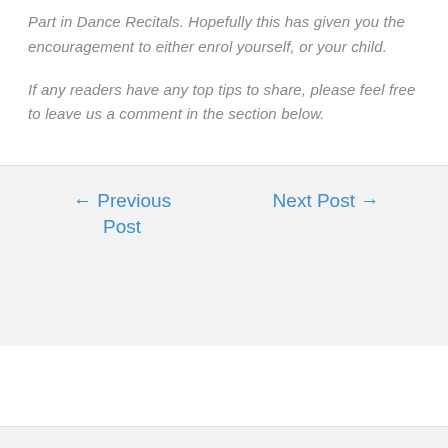Part in Dance Recitals. Hopefully this has given you the encouragement to either enrol yourself, or your child.
If any readers have any top tips to share, please feel free to leave us a comment in the section below.
← Previous Post    Next Post →